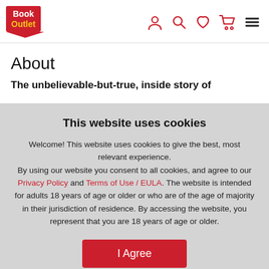[Figure (logo): Book Outlet logo — red banner shape with white text 'Book' and yellow text 'Outlet']
[Figure (infographic): Navigation icons: person/account, search, heart/wishlist, cart, hamburger menu — in red and black]
About
The unbelievable-but-true, inside story of
This website uses cookies
Welcome! This website uses cookies to give the best, most relevant experience.
By using our website you consent to all cookies, and agree to our Privacy Policy and Terms of Use / EULA. The website is intended for adults 18 years of age or older or who are of the age of majority in their jurisdiction of residence. By accessing the website, you represent that you are 18 years of age or older.
I Agree